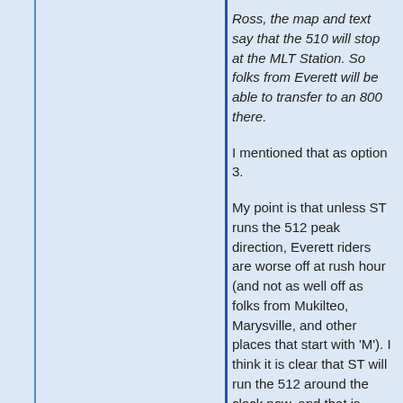Ross, the map and text say that the 510 will stop at the MLT Station. So folks from Everett will be able to transfer to an 800 there.
I mentioned that as option 3.
My point is that unless ST runs the 512 peak direction, Everett riders are worse off at rush hour (and not as well off as folks from Mukilteo, Marysville, and other places that start with 'M'). I think it is clear that ST will run the 512 around the clock now, and that is likely to cost them a lot of money for very few riders.